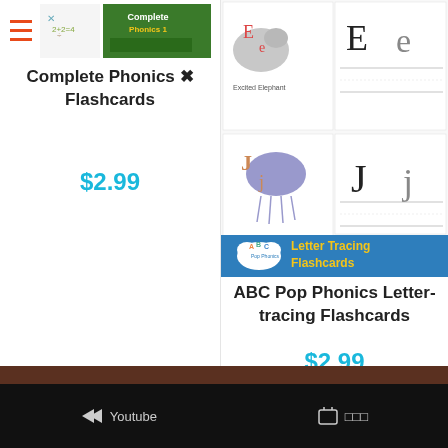[Figure (screenshot): Complete Phonics Flashcards product image with math symbols thumbnail]
Complete Phonics ✖ Flashcards
$2.99
[Figure (screenshot): ABC Pop Phonics Letter-tracing Flashcards product image showing Ee Excited Elephant and Jj Jumping Jellyfish with tracing lines]
[Figure (screenshot): Letter Tracing Flashcards banner with ABC Pop Phonics logo on blue background]
ABC Pop Phonics Letter-tracing Flashcards
$2.99
Youtube    □□□